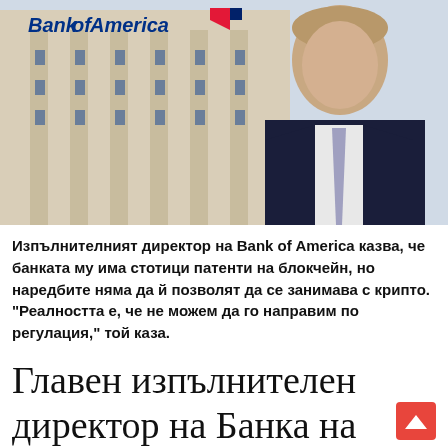[Figure (photo): Photo of Bank of America building exterior with logo and a man in a dark suit in the foreground]
Изпълнителният директор на Bank of America казва, че банката му има стотици патенти на блокчейн, но наредбите няма да й позволят да се занимава с крипто. "Реалността е, че не можем да го направим по регулация," той каза.
Главен изпълнителен директор на Банка на Америка по Крипто